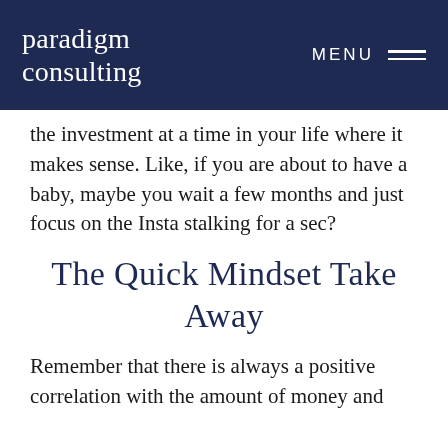paradigm consulting | MENU
the investment at a time in your life where it makes sense. Like, if you are about to have a baby, maybe you wait a few months and just focus on the Insta stalking for a sec?
The Quick Mindset Take Away
Remember that there is always a positive correlation with the amount of money and time you invest with the results you will